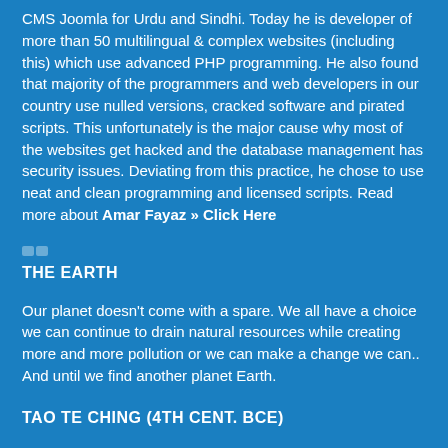CMS Joomla for Urdu and Sindhi. Today he is developer of more than 50 multilingual & complex websites (including this) which use advanced PHP programming. He also found that majority of the programmers and web developers in our country use nulled versions, cracked software and pirated scripts. This unfortunately is the major cause why most of the websites get hacked and the database management has security issues. Deviating from this practice, he chose to use neat and clean programming and licensed scripts. Read more about Amar Fayaz » Click Here
THE EARTH
Our planet doesn't come with a spare. We all have a choice we can continue to drain natural resources while creating more and more pollution or we can make a change we can.. And until we find another planet Earth.
TAO TE CHING (4TH CENT. BCE)
Weapons are the tools of violence;